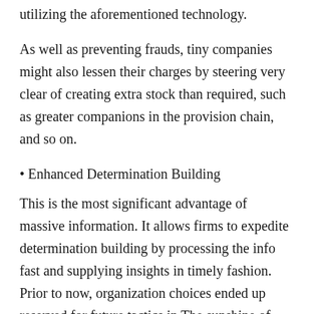utilizing the aforementioned technology.
As well as preventing frauds, tiny companies might also lessen their charges by steering very clear of creating extra stock than required, such as greater companions in the provision chain, and so on.
• Enhanced Determination Building
This is the most significant advantage of massive information. It allows firms to expedite determination building by processing the info fast and supplying insights in timely fashion. Prior to now, organization choices ended up reserved for future tactics in The sunshine of accessible information as well as trends that were noticed in it. The quantity of data that